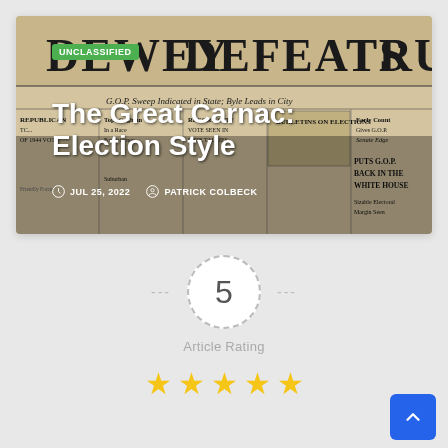[Figure (screenshot): Newspaper front page image showing 'DEWEY DEFEATS TRUMAN' headline, used as article thumbnail. Green 'UNCLASSIFIED' badge overlaid. Article title 'The Great Carnac: Election Style' and metadata overlaid on image.]
The Great Carnac: Election Style
JUL 25, 2022  PATRICK COLBECK
5
Article Rating
★★★★★